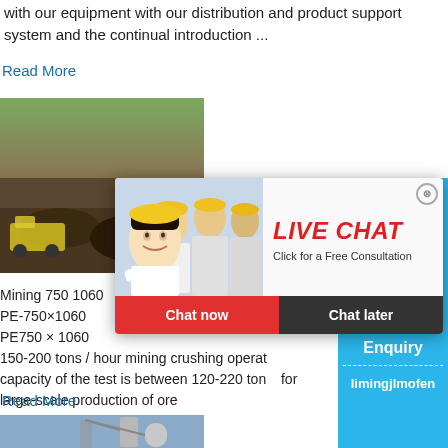with our equipment with our distribution and product support system and the continual introduction ...
Read More
[Figure (photo): Mining crushing equipment at an outdoor site with yellow machinery]
Mining 750 1060
PE-750×1060
PE750 × 1060
150-200 tons / hour mining crushing operations, capacity of the test is between 120-220 tons, for large-scale production of ore
Read More
[Figure (screenshot): Live chat overlay with workers in yellow hard hats, LIVE CHAT title in red italic, Chat now and Chat later buttons]
[Figure (photo): Industrial equipment/machinery on right sidebar with blue background, Click me to chat button, Enquiry section, limingjlmofen text]
[Figure (photo): Industrial silos and processing facility at bottom]